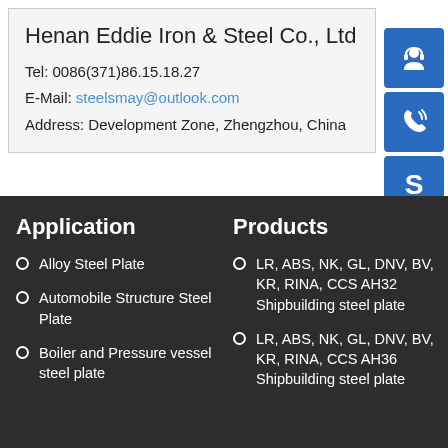Henan Eddie Iron & Steel Co., Ltd
Tel: 0086(371)86.15.18.27
E-Mail: steelsmay@outlook.com
Address: Development Zone, Zhengzhou, China
[Figure (illustration): Three blue icon buttons: headset/customer service icon, phone/call icon, and Skype icon]
Application
Alloy Steel Plate
Automobile Structure Steel Plate
Boiler and Pressure vessel steel plate
Products
LR, ABS, NK, GL, DNV, BV, KR, RINA, CCS AH32 Shipbuilding steel plate
LR, ABS, NK, GL, DNV, BV, KR, RINA, CCS AH36 Shipbuilding steel plate